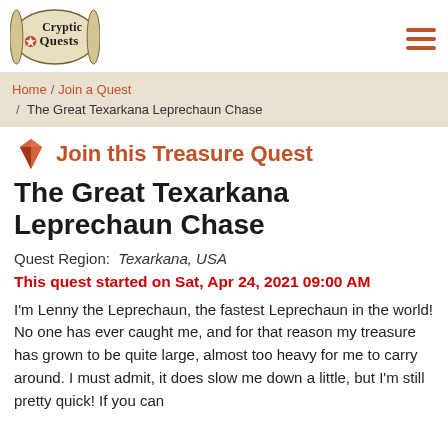Cryptic Quests [logo] [hamburger menu]
Home / Join a Quest / The Great Texarkana Leprechaun Chase
Join this Treasure Quest
The Great Texarkana Leprechaun Chase
Quest Region: Texarkana, USA
This quest started on Sat, Apr 24, 2021 09:00 AM
I'm Lenny the Leprechaun, the fastest Leprechaun in the world! No one has ever caught me, and for that reason my treasure has grown to be quite large, almost too heavy for me to carry around. I must admit, it does slow me down a little, but I'm still pretty quick! If you can be the first person to catch me, I'll be at your...